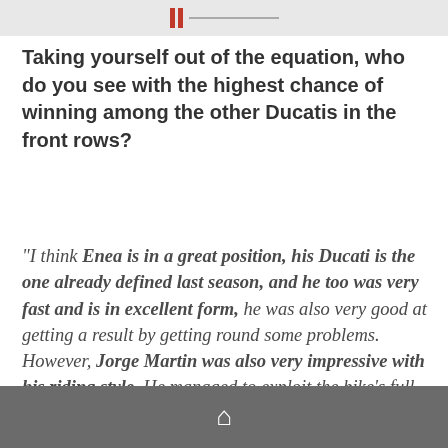[Figure (other): Top navigation bar with two red vertical bars and a grey horizontal line, resembling a pause/menu icon]
Taking yourself out of the equation, who do you see with the highest chance of winning among the other Ducatis in the front rows?
"I think Enea is in a great position, his Ducati is the one already defined last season, and he too was very fast and is in excellent form, he was also very good at getting a result by getting round some problems. However, Jorge Martin was also very impressive with his riding style. He managed to exploit the bike's full potential and pole is proof of that. The race is
[Figure (other): Bottom navigation bar (dark grey) with a white home icon]